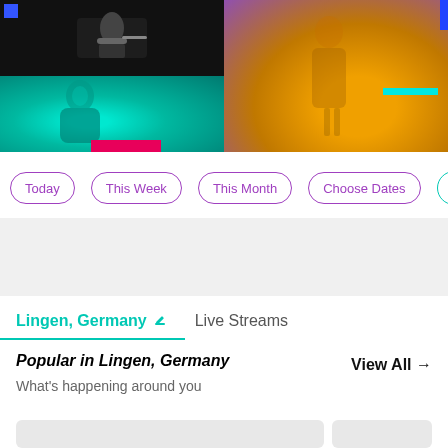[Figure (photo): Hero banner with two concert photos side by side. Left: black and white guitarist on dark background (top) and teal-lit female singer (bottom). Right: yellow/orange-lit performer on stage with purple background and cyan accent bar.]
Today
This Week
This Month
Choose Dates
Lingen, Germany
Live Streams
Popular in Lingen, Germany
What's happening around you
View All →